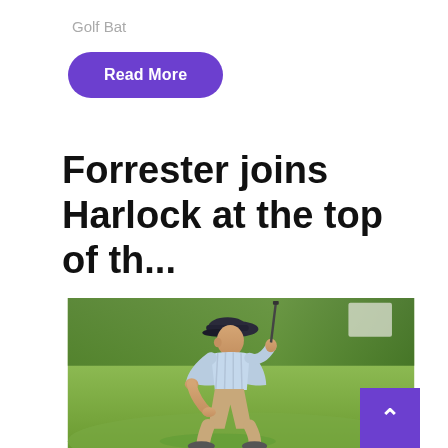Golf Bat
Read More
Forrester joins Harlock at the top of th...
[Figure (photo): A male golfer crouching on a golf green, wearing a light blue striped polo shirt, khaki shorts, and a dark baseball cap, holding a golf club, studying the green. Green grass and trees visible in the background.]